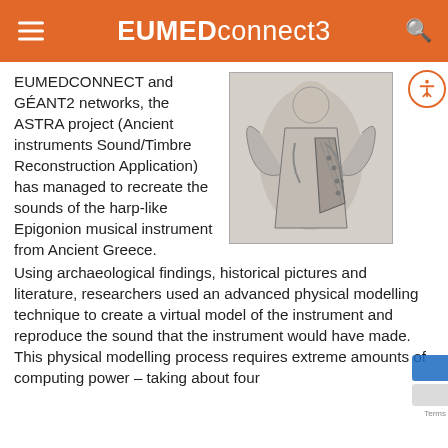EUMEDconnect3
EUMEDCONNECT and GÉANT2 networks, the ASTRA project (Ancient instruments Sound/Timbre Reconstruction Application) has managed to recreate the sounds of the harp-like Epigonion musical instrument from Ancient Greece.
[Figure (illustration): Medieval illustration of an angel holding a harp-like stringed instrument]
Using archaeological findings, historical pictures and literature, researchers used an advanced physical modelling technique to create a virtual model of the instrument and reproduce the sound that the instrument would have made. This physical modelling process requires extreme amounts of computing power – taking about four